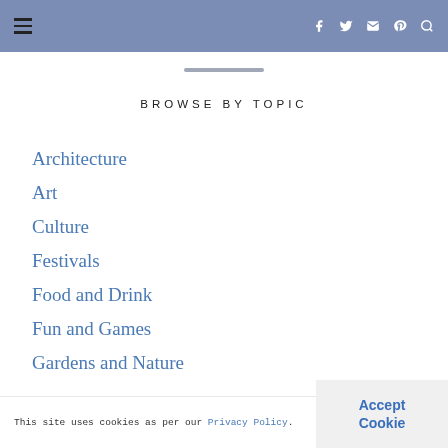Navigation header with hamburger menu and social icons (Facebook, Twitter, Instagram, Pinterest, Search)
BROWSE BY TOPIC
Architecture
Art
Culture
Festivals
Food and Drink
Fun and Games
Gardens and Nature
This site uses cookies as per our Privacy Policy.
Accept Cookie